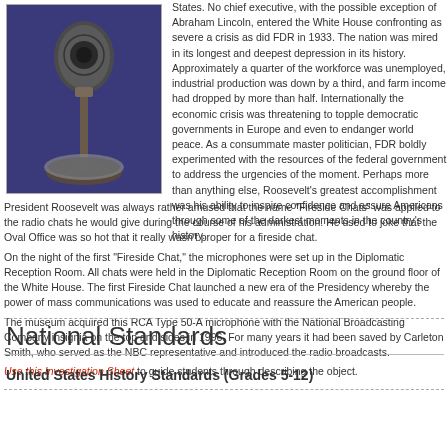[Figure (photo): Photograph of an RCA Type 50-A microphone on a stand against a blue/purple background]
States. No chief executive, with the possible exception of Abraham Lincoln, entered the White House confronting as severe a crisis as did FDR in 1933. The nation was mired in its longest and deepest depression in its history. Approximately a quarter of the workforce was unemployed, industrial production was down by a third, and farm income had dropped by more than half. Internationally the economic crisis was threatening to topple democratic governments in Europe and even to endanger world peace. As a consummate master politician, FDR boldly experimented with the resources of the federal government to address the urgencies of the moment. Perhaps more than anything else, Roosevelt's greatest accomplishment was his ability to inspire confidence and assure Americans through some of the darkest moments in the country's history.
President Roosevelt was always rather amused that the name "Fireside Chats" was applied to the radio chats he would give during the course of his administration. He used to joke that the Oval Office was so hot that it really wasn't proper for a fireside chat.
On the night of the first "Fireside Chat," the microphones were set up in the Diplomatic Reception Room. All chats were held in the Diplomatic Reception Room on the ground floor of the White House. The first Fireside Chat launched a new era of the Presidency whereby the power of mass communications was used to educate and reassure the American people.
The museum acquired this RCA Type 50-A microphone with the National Broadcasting Company insignia on the top and sides in 1996. For many years it had been saved by Carleton Smith, who served as the NBC representative and introduced the radio broadcasts.
Use this Investigation Sheet to guide students through describing the object.
National Standards
United States History Standards (Grades 5-12)